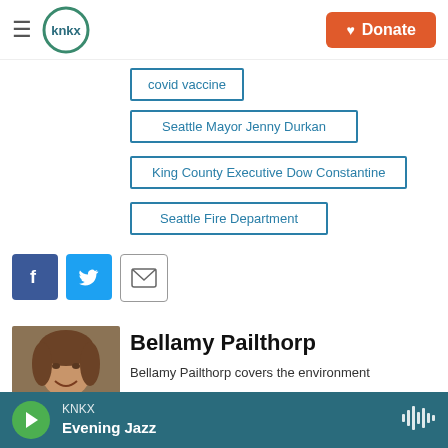KNKX — Donate
covid vaccine
Seattle Mayor Jenny Durkan
King County Executive Dow Constantine
Seattle Fire Department
[Figure (other): Social sharing icons: Facebook (blue), Twitter (blue), Email (outlined)]
[Figure (photo): Headshot photo of Bellamy Pailthorp, a woman with long brown hair, smiling]
Bellamy Pailthorp
Bellamy Pailthorp covers the environment
KNKX — Evening Jazz